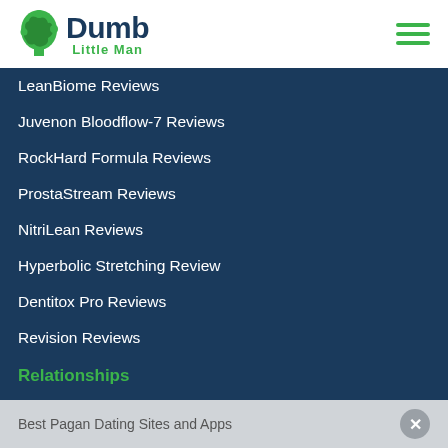Dumb Little Man
LeanBiome Reviews
Juvenon Bloodflow-7 Reviews
RockHard Formula Reviews
ProstaStream Reviews
NitriLean Reviews
Hyperbolic Stretching Review
Dentitox Pro Reviews
Revision Reviews
Relationships
Religious Dating Guides
Best Catholic Dating Sites and Apps
Best Christian Dating Sites
Best Pagan Dating Sites and Apps